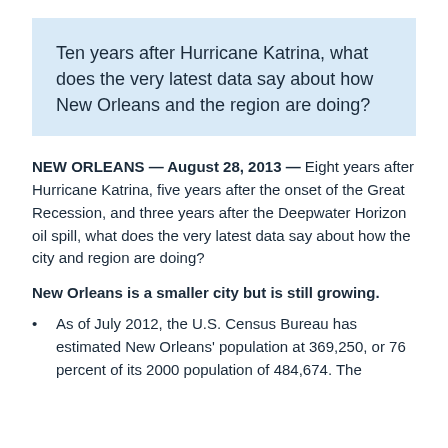Ten years after Hurricane Katrina, what does the very latest data say about how New Orleans and the region are doing?
NEW ORLEANS — August 28, 2013 — Eight years after Hurricane Katrina, five years after the onset of the Great Recession, and three years after the Deepwater Horizon oil spill, what does the very latest data say about how the city and region are doing?
New Orleans is a smaller city but is still growing.
As of July 2012, the U.S. Census Bureau has estimated New Orleans' population at 369,250, or 76 percent of its 2000 population of 484,674. The